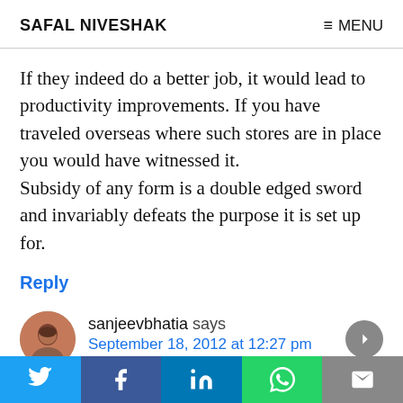SAFAL NIVESHAK   ≡ MENU
If they indeed do a better job, it would lead to productivity improvements. If you have traveled overseas where such stores are in place you would have witnessed it.
Subsidy of any form is a double edged sword and invariably defeats the purpose it is set up for.
Reply
sanjeevbhatia says
September 18, 2012 at 12:27 pm